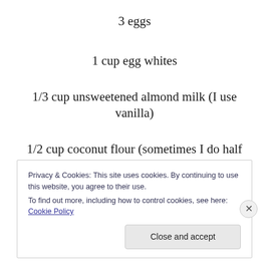3 eggs
1 cup egg whites
1/3 cup unsweetened almond milk (I use vanilla)
1/2 cup coconut flour (sometimes I do half coconut flour/half almond meal)
1 tsp baking powder
Dash of cinnamon
Privacy & Cookies: This site uses cookies. By continuing to use this website, you agree to their use.
To find out more, including how to control cookies, see here: Cookie Policy